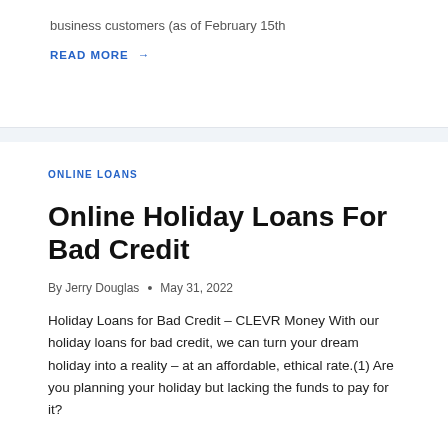business customers (as of February 15th
READ MORE →
ONLINE LOANS
Online Holiday Loans For Bad Credit
By Jerry Douglas • May 31, 2022
Holiday Loans for Bad Credit – CLEVR Money With our holiday loans for bad credit, we can turn your dream holiday into a reality – at an affordable, ethical rate.(1) Are you planning your holiday but lacking the funds to pay for it?